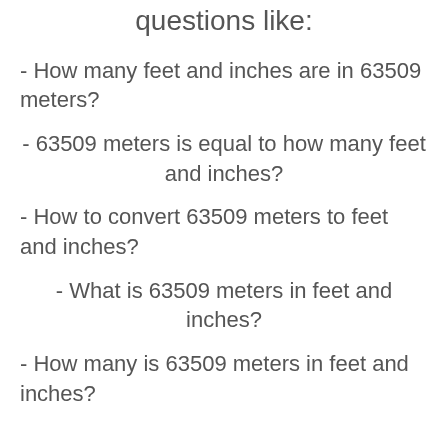questions like:
- How many feet and inches are in 63509 meters?
- 63509 meters is equal to how many feet and inches?
- How to convert 63509 meters to feet and inches?
- What is 63509 meters in feet and inches?
- How many is 63509 meters in feet and inches?